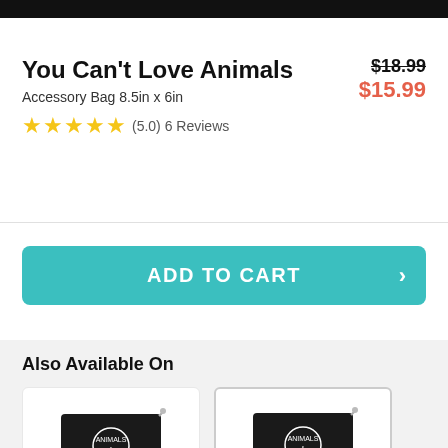[Figure (other): Black navigation bar at top of screen]
You Can't Love Animals
Accessory Bag 8.5in x 6in
$18.99 $15.99
★★★★★ (5.0) 6 Reviews
ADD TO CART
Also Available On
[Figure (photo): Black accessory bag with animal logo print]
[Figure (photo): Black accessory bag with animal logo print, outlined card]